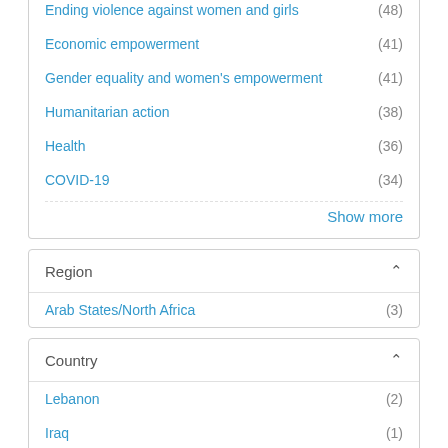Ending violence against women and girls (48)
Economic empowerment (41)
Gender equality and women's empowerment (41)
Humanitarian action (38)
Health (36)
COVID-19 (34)
Show more
Region
Arab States/North Africa (3)
Country
Lebanon (2)
Iraq (1)
Libya (1)